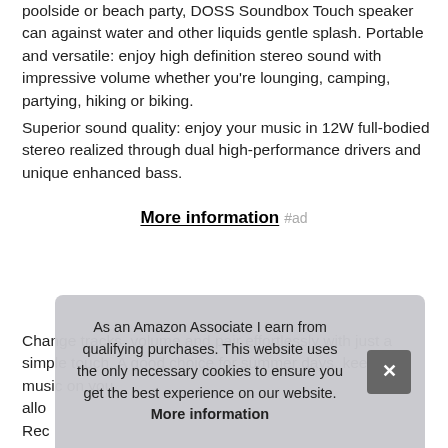poolside or beach party, DOSS Soundbox Touch speaker can against water and other liquids gentle splash. Portable and versatile: enjoy high definition stereo sound with impressive volume whether you're lounging, camping, partying, hiking or biking.
Superior sound quality: enjoy your music in 12W full-bodied stereo realized through dual high-performance drivers and unique enhanced bass.
More information #ad
Change tracks, volume and pair effortlessly with just a simple touch. A good choice for summer days, keep the music on you... allow... Rec... Exte... up t...
As an Amazon Associate I earn from qualifying purchases. This website uses the only necessary cookies to ensure you get the best experience on our website. More information